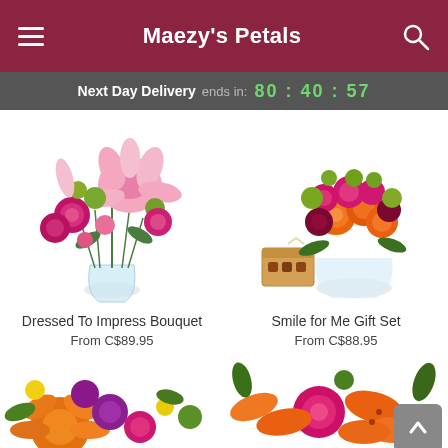Maezy's Petals
Next Day Delivery ends in: 80 : 40 : 57
[Figure (photo): Dressed To Impress Bouquet — tall glass vase with pink lilies, hot pink roses, green button mums and carnations]
Dressed To Impress Bouquet
From C$89.95
[Figure (photo): Smile for Me Gift Set — round bowl with orange and pink roses, green mums, with a small box of chocolates]
Smile for Me Gift Set
From C$88.95
[Figure (photo): Bottom left partially visible flower bouquet with orange lilies, purple mums, and roses]
[Figure (photo): Bottom right partially visible arrangement with hot pink roses and orange lilies]